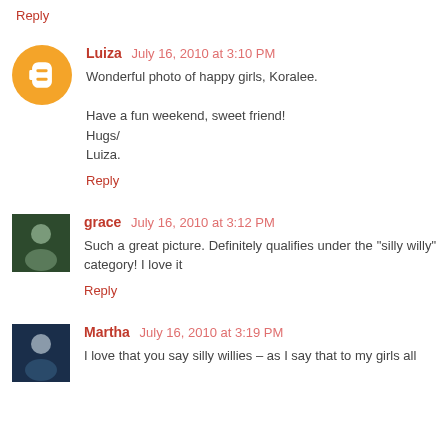Reply
Luiza July 16, 2010 at 3:10 PM
Wonderful photo of happy girls, Koralee.

Have a fun weekend, sweet friend!
Hugs/
Luiza.
Reply
grace July 16, 2010 at 3:12 PM
Such a great picture. Definitely qualifies under the "silly willy" category! I love it
Reply
Martha July 16, 2010 at 3:19 PM
I love that you say silly willies – as I say that to my girls all